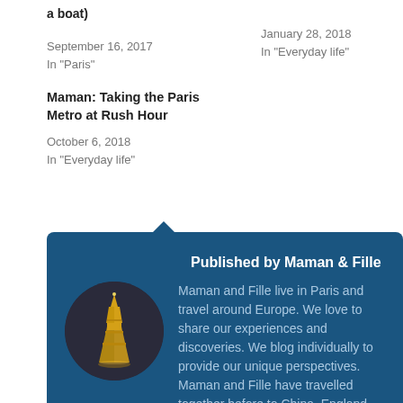a boat)
September 16, 2017
In "Paris"
January 28, 2018
In "Everyday life"
Maman: Taking the Paris Metro at Rush Hour
October 6, 2018
In "Everyday life"
[Figure (infographic): Blue rounded box with author bio for Maman & Fille blog, including circular avatar with Eiffel Tower image]
Published by Maman & Fille
Maman and Fille live in Paris and travel around Europe. We love to share our experiences and discoveries. We blog individually to provide our unique perspectives. Maman and Fille have travelled together before to China, England, Canada, and Western US. View all